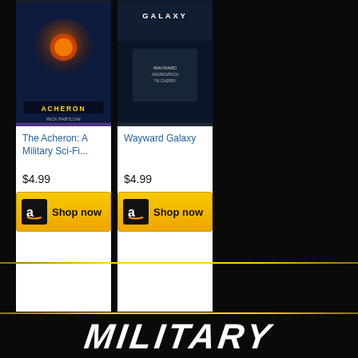[Figure (illustration): Book product card for 'The Acheron: A Military Sci-Fi...' priced at $4.99 with a Shop now button featuring Amazon logo]
[Figure (illustration): Book product card for 'Wayward Galaxy' priced at $4.99 with a Shop now button featuring Amazon logo]
[Figure (illustration): Dark starfield background with golden horizontal dividers, hamburger menu icon, and large italic white 'MILITARY' text at bottom]